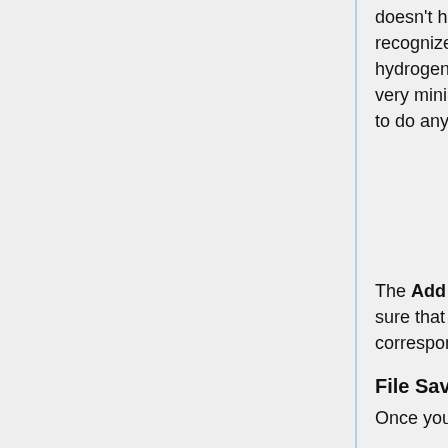doesn't have predefined partial charges for them. Since Chimera doesn't recognize them, it will not apply charges to them. Additionally, since they are just hydrogens (meaning that their charge contributions to the system is often times very minimal) and the residue is not near the ligand active site, we do not have to do anything further in terms of adding charges.
The Add Charge command predicts the protein net charge to be -2.913. Make sure that this value is in agreement with what the PDB website or the corresponding paper says about the charge, if that information is provided.
File Saving
Once you have completed all of the aforementioned steps, you have to save